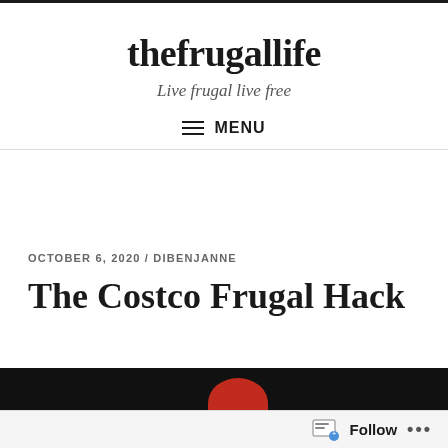thefrugallife
Live frugal live free
≡ MENU
OCTOBER 6, 2020 / DIBENJANNE
The Costco Frugal Hack
[Figure (photo): Dark background photo with a red object visible at the bottom, partially cropped]
Follow ...